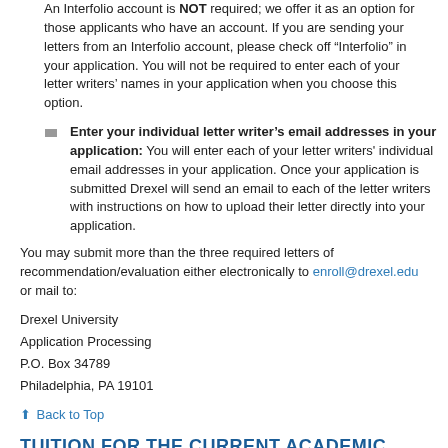An Interfolio account is NOT required; we offer it as an option for those applicants who have an account. If you are sending your letters from an Interfolio account, please check off “Interfolio” in your application. You will not be required to enter each of your letter writers’ names in your application when you choose this option.
Enter your individual letter writer’s email addresses in your application: You will enter each of your letter writers’ individual email addresses in your application. Once your application is submitted Drexel will send an email to each of the letter writers with instructions on how to upload their letter directly into your application.
You may submit more than the three required letters of recommendation/evaluation either electronically to enroll@drexel.edu or mail to:
Drexel University
Application Processing
P.O. Box 34789
Philadelphia, PA 19101
Back to Top
TUITION FOR THE CURRENT ACADEMIC YEAR